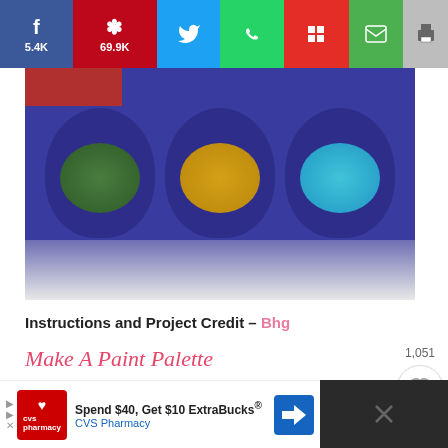[Figure (screenshot): Social media share bar with Facebook (5.4K), Pinterest (69.9K), Twitter, WhatsApp, Flipboard, Email, and Print buttons]
[Figure (photo): Blue ice cube / paint palette tray with green leaves, gold coins, and blue snowflake confetti in the wells, on a white surface]
Instructions and Project Credit – Bhg
Make A Paint Palette
If you are a painter or you have little ones who love to paint, you can use old ice cube trays as paint palettes to make for easier cleanup. This is a good idea for
[Figure (screenshot): Like counter showing 1,051 with heart button and teal search button on right side]
[Figure (screenshot): CVS Pharmacy advertisement: Spend $40, Get $10 ExtraBucks®]